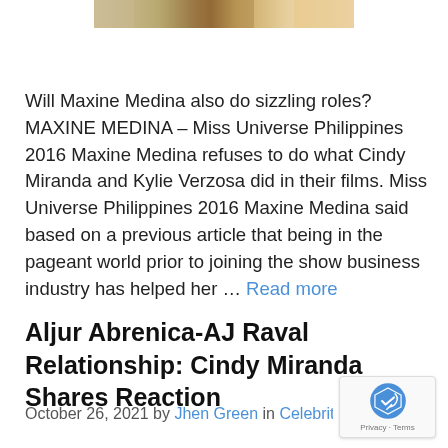[Figure (photo): Top portion of a photo showing people, partially cropped at the top of the page]
Will Maxine Medina also do sizzling roles? MAXINE MEDINA – Miss Universe Philippines 2016 Maxine Medina refuses to do what Cindy Miranda and Kylie Verzosa did in their films. Miss Universe Philippines 2016 Maxine Medina said based on a previous article that being in the pageant world prior to joining the show business industry has helped her … Read more
Aljur Abrenica-AJ Raval Relationship: Cindy Miranda Shares Reaction
October 26, 2021 by Jhen Green in Celebrity